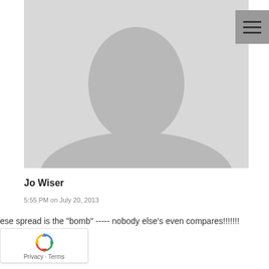[Figure (photo): Blurred/silhouette placeholder profile photo of a person, gray background]
Jo Wiser
5:55 PM on July 20, 2013
ese spread is the "bomb" ----- nobody else's even compares!!!!!!!
[Figure (other): reCAPTCHA badge with recycling-arrow logo and Privacy - Terms text]